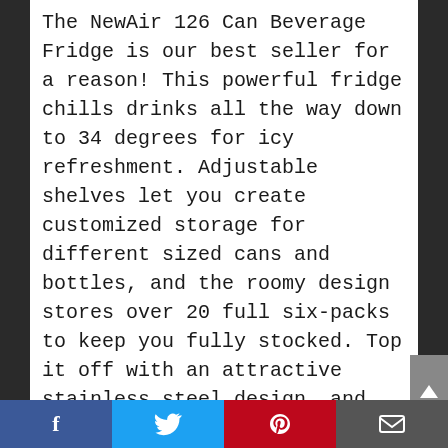The NewAir 126 Can Beverage Fridge is our best seller for a reason! This powerful fridge chills drinks all the way down to 34 degrees for icy refreshment. Adjustable shelves let you create customized storage for different sized cans and bottles, and the roomy design stores over 20 full six-packs to keep you fully stocked. Top it off with an attractive stainless steel design, and this fridge is sure to please.
5. Whynter BR-128WS Lock, 120 Can Capacity, Stainless Steel Beverage Refrigerator White
Social share bar: Facebook, Twitter, Pinterest, Email